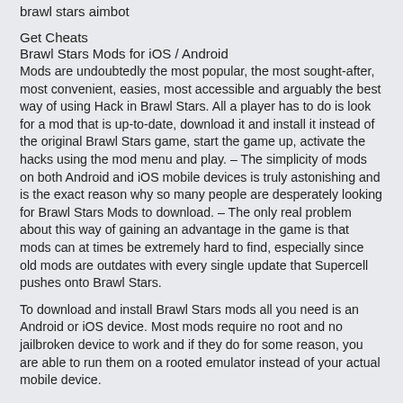brawl stars aimbot
Get Cheats
Brawl Stars Mods for iOS / Android
Mods are undoubtedly the most popular, the most sought-after, most convenient, easies, most accessible and arguably the best way of using Hack in Brawl Stars. All a player has to do is look for a mod that is up-to-date, download it and install it instead of the original Brawl Stars game, start the game up, activate the hacks using the mod menu and play. – The simplicity of mods on both Android and iOS mobile devices is truly astonishing and is the exact reason why so many people are desperately looking for Brawl Stars Mods to download. – The only real problem about this way of gaining an advantage in the game is that mods can at times be extremely hard to find, especially since old mods are outdates with every single update that Supercell pushes onto Brawl Stars.
To download and install Brawl Stars mods all you need is an Android or iOS device. Most mods require no root and no jailbroken device to work and if they do for some reason, you are able to run them on a rooted emulator instead of your actual mobile device.